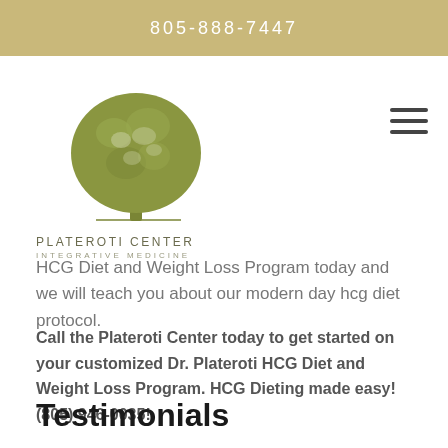805-888-7447
[Figure (logo): Plateroti Center Integrative Medicine tree logo with olive-green illustrated tree above the text PLATEROTI CENTER INTEGRATIVE MEDICINE]
HCG Diet and Weight Loss Program today and we will teach you about our modern day hcg diet protocol.
Call the Plateroti Center today to get started on your customized Dr. Plateroti HCG Diet and Weight Loss Program. HCG Dieting made easy! (805) 946-0035!
Testimonials